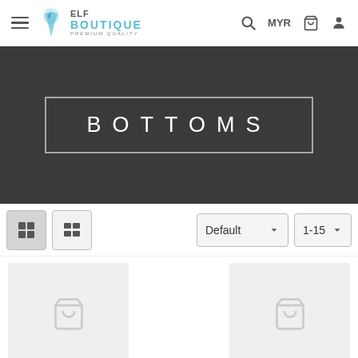ELF BOUTIQUE PREMIUM QUALITY — MYR — Navigation header
[Figure (screenshot): Dark banner with BOTTOMS text in wide letter-spaced uppercase white font inside a double border rectangle]
Default  1-15
[Figure (photo): Product card placeholder with shopping cart icon]
[Figure (photo): Product card placeholder with shopping cart icon]